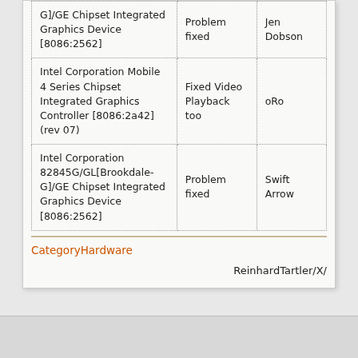| Device | Status | Reporter |
| --- | --- | --- |
| G]/GE Chipset Integrated Graphics Device [8086:2562] | Problem fixed | Jen Dobson |
| Intel Corporation Mobile 4 Series Chipset Integrated Graphics Controller [8086:2a42] (rev 07) | Fixed Video Playback too | oRo |
| Intel Corporation 82845G/GL[Brookdale-G]/GE Chipset Integrated Graphics Device [8086:2562] | Problem fixed | Swift Arrow |
CategoryHardware
ReinhardTartler/X/